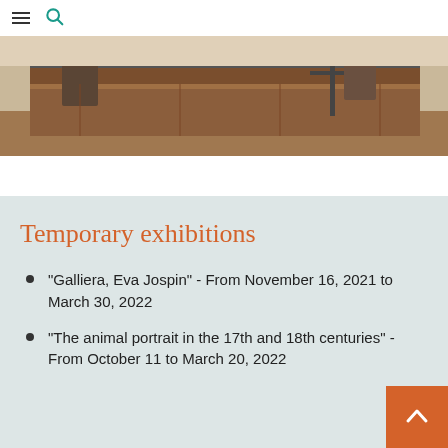Navigation header with hamburger menu and search icon
[Figure (photo): A photograph showing people near a large wooden cabinet or display case in what appears to be a museum setting. People are visible working around or inspecting the furniture piece.]
Temporary exhibitions
"Galliera, Eva Jospin" - From November 16, 2021 to March 30, 2022
"The animal portrait in the 17th and 18th centuries" - From October 11 to March 20, 2022